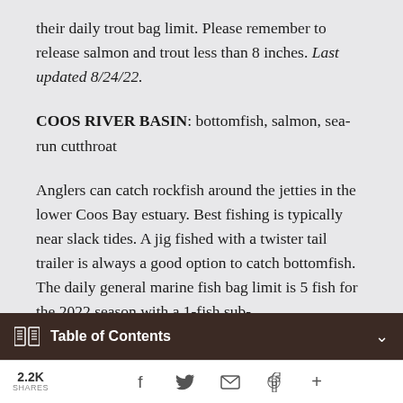their daily trout bag limit. Please remember to release salmon and trout less than 8 inches. Last updated 8/24/22.
COOS RIVER BASIN: bottomfish, salmon, sea-run cutthroat
Anglers can catch rockfish around the jetties in the lower Coos Bay estuary. Best fishing is typically near slack tides. A jig fished with a twister tail trailer is always a good option to catch bottomfish. The daily general marine fish bag limit is 5 fish for the 2022 season with a 1-fish sub-
Table of Contents
2.2K SHARES